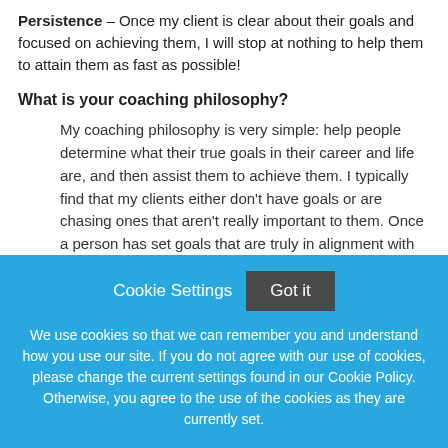Persistence – Once my client is clear about their goals and focused on achieving them, I will stop at nothing to help them to attain them as fast as possible!
What is your coaching philosophy?
My coaching philosophy is very simple: help people determine what their true goals in their career and life are, and then assist them to achieve them. I typically find that my clients either don't have goals or are chasing ones that aren't really important to them. Once a person has set goals that are truly in alignment with themselves, their career and life instantly
Cookie Settings   Got it

We use cookies so that we can remember you and understand how you use our site. If you do not agree with our use of cookies, please change the current settings found in our Cookie Policy. Otherwise, you agree to the use of the cookies as they are currently set.